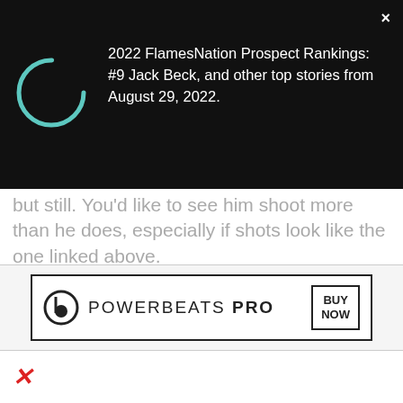[Figure (screenshot): Notification overlay with spinner and article headline: '2022 FlamesNation Prospect Rankings: #9 Jack Beck, and other top stories from August 29, 2022.']
but still. You'd like to see him shoot more than he does, especially if shots look like the one linked above.
It's been difficult for opponents to get shots off against BU in general, but he didn't attempt anything at all on the power play, and while it's only one game, it doesn't-not seem like a trend. And that trend — Jankowski not-shooting — is
[Figure (screenshot): Advertisement banner for Powerbeats Pro with Beats logo and BUY NOW button]
×